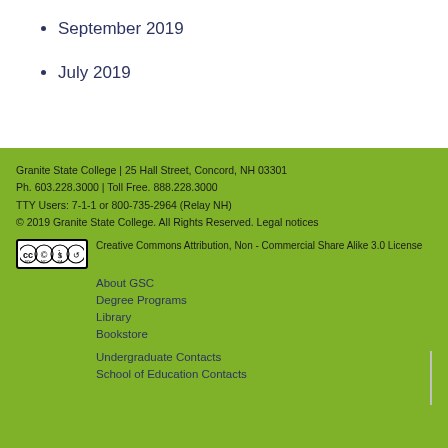September 2019
July 2019
Granite State College | 25 Hall Street, Concord, NH 03301
Ph. 603.228.3000 | Toll Free. 888.228.3000
TTY Users: 7-1-1 or 800-735-2964 (Relay NH)
© 2019 Granite State College. All Rights Reserved. Legal notices
[Figure (logo): Creative Commons BY NC SA license badge]
Creative Commons Attribution, Non - Commercial Share Alike 3.0 License
About GSC
Degree Programs
Library
Bookstore
Undergraduate Contacts
School of Education Contacts